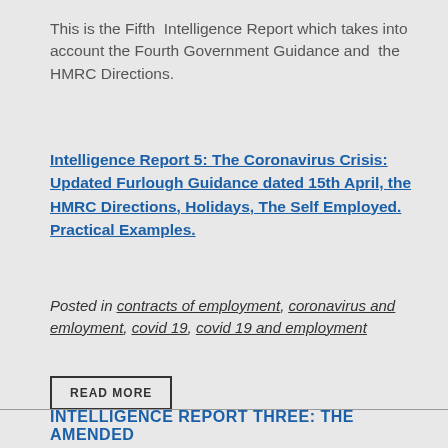This is the Fifth Intelligence Report which takes into account the Fourth Government Guidance and the HMRC Directions.
Intelligence Report 5: The Coronavirus Crisis: Updated Furlough Guidance dated 15th April, the HMRC Directions, Holidays, The Self Employed. Practical Examples.
Posted in contracts of employment, coronavirus and emloyment, covid 19, covid 19 and employment
READ MORE
INTELLIGENCE REPORT THREE: THE AMENDED